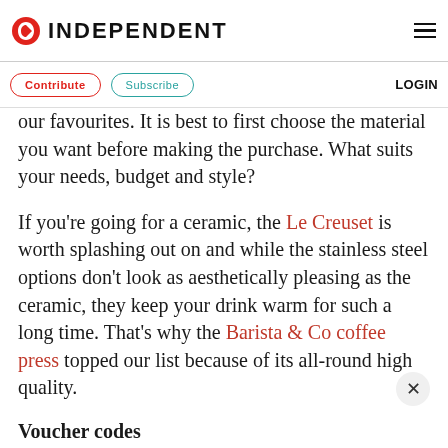INDEPENDENT
Contribute  Subscribe  LOGIN
our favourites. It is best to first choose the material you want before making the purchase. What suits your needs, budget and style?
If you're going for a ceramic, the Le Creuset is worth splashing out on and while the stainless steel options don't look as aesthetically pleasing as the ceramic, they keep your drink warm for such a long time. That's why the Barista & Co coffee press topped our list because of its all-round high quality.
Voucher codes